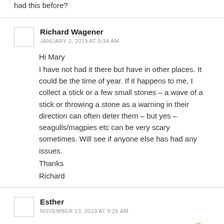had this before?
Richard Wagener
JANUARY 2, 2019 AT 9:34 AM
Hi Mary
I have not had it there but have in other places. It could be the time of year. If it happens to me, I collect a stick or a few small stones – a wave of a stick or throwing a stone as a warning in their direction can often deter them – but yes – seagulls/magpies etc can be very scary sometimes. Will see if anyone else has had any issues.
Thanks
Richard
Esther
NOVEMBER 13, 2019 AT 9:25 AM
So many beautiful kingfishers this time of year 😊 love going